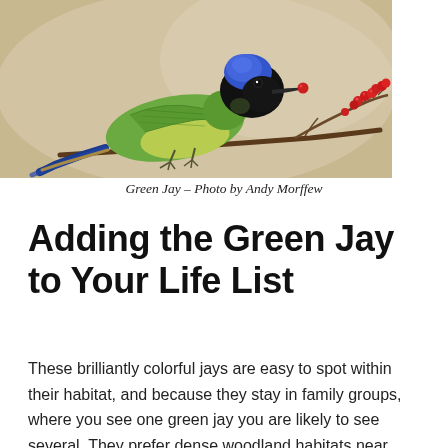[Figure (photo): A Green Jay bird with blue and black head, green and yellow body, perched on a branch with red berries, holding a red berry in its beak. Background is a soft blurred tan/brown.]
Green Jay – Photo by Andy Morffew
Adding the Green Jay to Your Life List
These brilliantly colorful jays are easy to spot within their habitat, and because they stay in family groups, where you see one green jay you are likely to see several. They prefer dense woodland habitats near humid waterways and can often be found in orchards, plantations, and parks. In nature